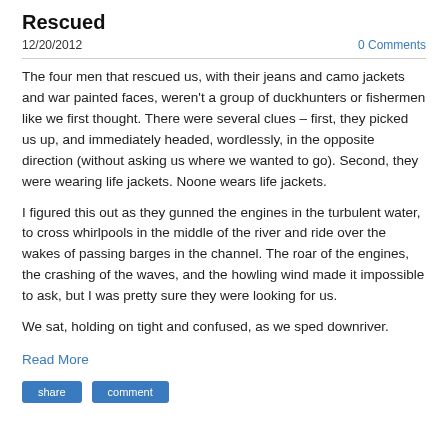Rescued
12/20/2012	0 Comments
The four men that rescued us, with their jeans and camo jackets and war painted faces, weren't a group of duckhunters or fishermen like we first thought. There were several clues – first, they picked us up, and immediately headed, wordlessly, in the opposite direction (without asking us where we wanted to go). Second, they were wearing life jackets. Noone wears life jackets.
I figured this out as they gunned the engines in the turbulent water, to cross whirlpools in the middle of the river and ride over the wakes of passing barges in the channel. The roar of the engines, the crashing of the waves, and the howling wind made it impossible to ask, but I was pretty sure they were looking for us.
We sat, holding on tight and confused, as we sped downriver.
Read More